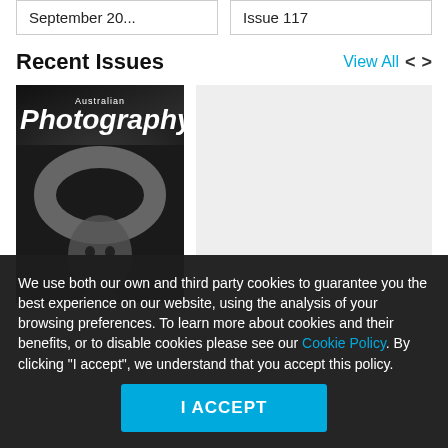September 20...
Issue 117
Recent Issues
View All
[Figure (photo): Cover of Australian Photography magazine showing a black and white portrait of a person holding large curved horns above their head]
[Figure (other): Gray placeholder box for a second magazine issue]
We use both our own and third party cookies to guarantee you the best experience on our website, using the analysis of your browsing preferences. To learn more about cookies and their benefits, or to disable cookies please see our Cookie Policy. By clicking "I accept", we understand that you accept this policy.
I ACCEPT